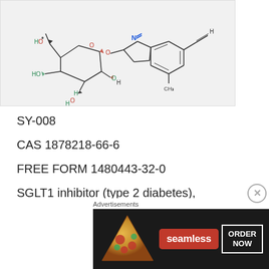[Figure (engineering-diagram): Chemical structure diagram of a glucopyranoside compound showing a sugar ring connected to a heterocyclic ring system with nitrogen (blue), oxygen (red/teal), and carbon atoms, with H labels in teal and O labels in red]
SY-008
CAS 1878218-66-6
FREE FORM 1480443-32-0
SGLT1 inhibitor (type 2 diabetes),
β-D-Glucopyranoside, 4-[[4-[(1E)-4-(2,9-
diazaspiro[5.5]undec-2-yl)-1-buten-1-yl]-2-
[Figure (photo): Advertisement banner for Seamless food delivery service showing pizza slices with Seamless logo and ORDER NOW button]